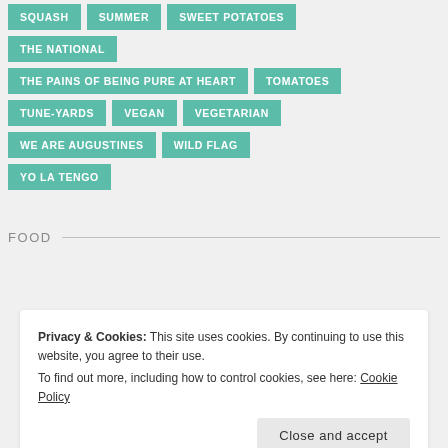SQUASH
SUMMER
SWEET POTATOES
THE NATIONAL
THE PAINS OF BEING PURE AT HEART
TOMATOES
TUNE-YARDS
VEGAN
VEGETARIAN
WE ARE AUGUSTINES
WILD FLAG
YO LA TENGO
FOOD
Privacy & Cookies: This site uses cookies. By continuing to use this website, you agree to their use.
To find out more, including how to control cookies, see here: Cookie Policy
Close and accept